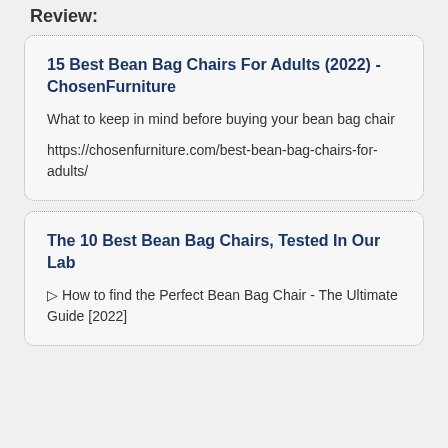Review:
15 Best Bean Bag Chairs For Adults (2022) - ChosenFurniture
What to keep in mind before buying your bean bag chair
https://chosenfurniture.com/best-bean-bag-chairs-for-adults/
The 10 Best Bean Bag Chairs, Tested In Our Lab
▷ How to find the Perfect Bean Bag Chair - The Ultimate Guide [2022]